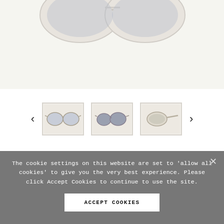[Figure (photo): Large product photo of white Chanel sunglasses on light background, showing top portion]
[Figure (photo): Thumbnail carousel with left/right arrows showing three views of Chanel white sunglasses: front view, slightly angled, and side profile]
CHANEL
Chanel 01947 10601 - White
The cookie settings on this website are set to 'allow all cookies' to give you the very best experience. Please click Accept Cookies to continue to use the site.
ACCEPT COOKIES